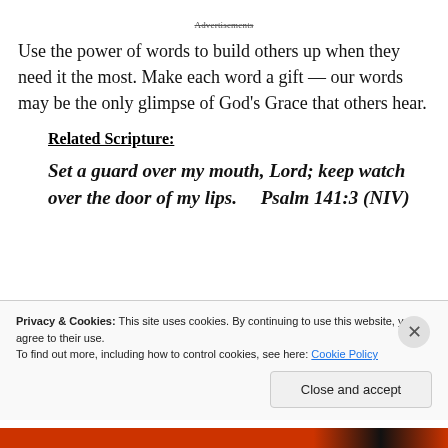Advertisements
Use the power of words to build others up when they need it the most. Make each word a gift — our words may be the only glimpse of God's Grace that others hear.
Related Scripture:
Set a guard over my mouth, Lord; keep watch over the door of my lips. Psalm 141:3 (NIV)
Privacy & Cookies: This site uses cookies. By continuing to use this website, you agree to their use.
To find out more, including how to control cookies, see here: Cookie Policy
Close and accept